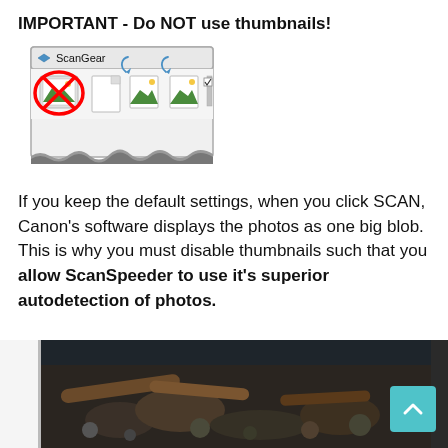IMPORTANT - Do NOT use thumbnails!
[Figure (screenshot): ScanGear software toolbar screenshot showing thumbnail view icons, with the first thumbnail icon circled in red with a red X indicating it should not be selected]
If you keep the default settings, when you click SCAN, Canon's software displays the photos as one big blob.  This is why you must disable thumbnails such that you allow ScanSpeeder to use it's superior autodetection of photos.
[Figure (photo): Photo of debris, rocks and wooden logs on a dark surface, partially visible at the bottom of the page]